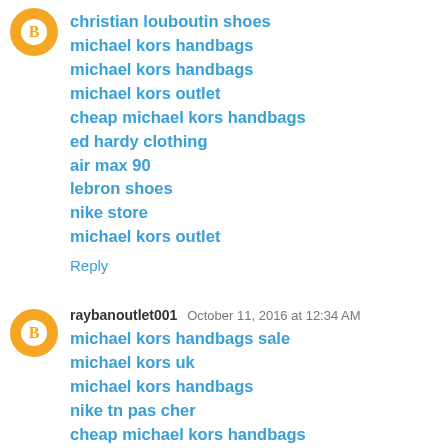christian louboutin shoes
michael kors handbags
michael kors handbags
michael kors outlet
cheap michael kors handbags
ed hardy clothing
air max 90
lebron shoes
nike store
michael kors outlet
Reply
raybanoutlet001  October 11, 2016 at 12:34 AM
michael kors handbags sale
michael kors uk
michael kors handbags
nike tn pas cher
cheap michael kors handbags
nike huarache
adidas nmd runner